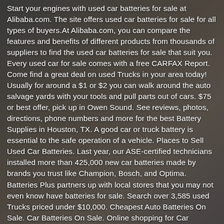Start your engines with used car batteries for sale at Alibaba.com. The site offers used car batteries for sale for all types of buyers. At Alibaba.com, you can compare the features and benefits of different products from thousands of suppliers to find the used car batteries for sale that suit you. Every used car for sale comes with a free CARFAX Report. Come find a great deal on used Trucks in your area today! Usually for around a $1 or $2 you can walk around the auto salvage yards with your tools and pull parts out of cars. $75 or best offer, pick up in Owen Sound. See reviews, photos, directions, phone numbers and more for the best Battery Supplies in Houston, TX. A good car or truck battery is essential to the safe operation of a vehicle. Places to Sell Used Car Batteries. Last year, our ASE-certified technicians installed more than 425,000 new car batteries made by brands you trust like Champion, Bosch, and Optima. Batteries Plus partners up with local stores that you may not even know have batteries for sale. Search over 3,585 used Trucks priced under $10,000. Cheapest Auto Batteries On Sale. Car Batteries On Sale. Online shopping for Car Batteries from a great selection at Automotive Store. If you're using our site we'll assume you're happy with this. Find used cars for sale by owner, cheap cars, trucks and suvs - 7,517 cars for sale added today from private sellers and car dealers. Find the best Discount Car Batteries near you on Yelp - see all Discount Car Batteries open now. Find your perfect car with Edmunds expert reviews, car comparisons, and pricing tools. TrueCar has over 953,946 listings nationwide, updated daily. Battery Starter for Car, TOPVISION 2200A Peak 21800mAh Portable Car Power Pack with USB Quick